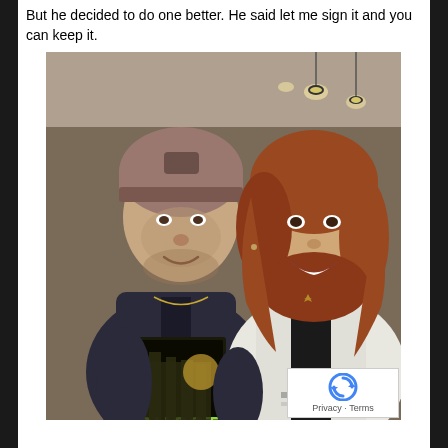But he decided to do one better. He said let me sign it and you can keep it.
[Figure (photo): Two people posing together for a photo. On the left is a young man wearing a brown/mauve beanie hat and a dark jacket, holding a book titled 'GHOST'. On the right is a woman with reddish-brown hair wearing a white cardigan, smiling at the camera. The background shows an indoor setting with ceiling lights.]
Privacy · Terms